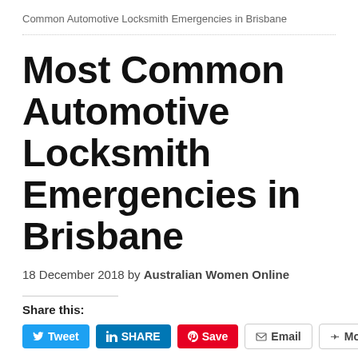Common Automotive Locksmith Emergencies in Brisbane
Most Common Automotive Locksmith Emergencies in Brisbane
18 December 2018 by Australian Women Online
Share this:
[Figure (screenshot): Social share buttons: Tweet (Twitter, blue), SHARE (LinkedIn, blue), Save (Pinterest, red), Email (grey outline), More (grey outline)]
[Figure (photo): Partial photo at bottom of page, appears to show a dark car interior or exterior detail]